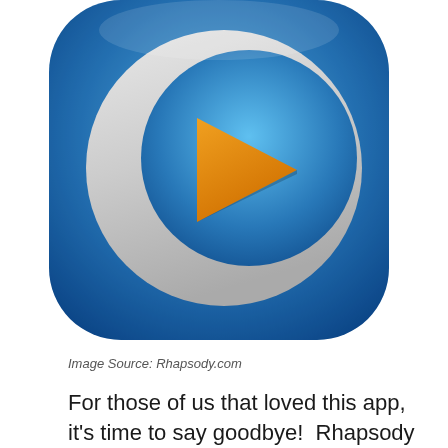[Figure (logo): Rhapsody music app icon — rounded square with blue gradient background, large white crescent/C shape, orange play button triangle in center]
Image Source: Rhapsody.com
For those of us that loved this app, it's time to say goodbye!  Rhapsody is now Napster – more on that later.
If you're looking for a top rated best free